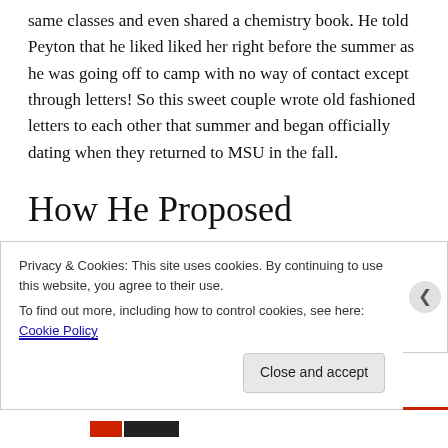same classes and even shared a chemistry book. He told Peyton that he liked liked her right before the summer as he was going off to camp with no way of contact except through letters! So this sweet couple wrote old fashioned letters to each other that summer and began officially dating when they returned to MSU in the fall.
How He Proposed
Peyton and Ken both recently moved to Memphis. He started his job there and she is starting school. Peyton continues, “My favorite thing to do is go on picnics. We
Privacy & Cookies: This site uses cookies. By continuing to use this website, you agree to their use.
To find out more, including how to control cookies, see here: Cookie Policy